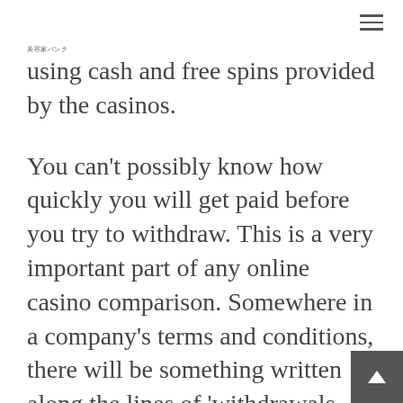美容家バンク
using cash and free spins provided by the casinos.
You can't possibly know how quickly you will get paid before you try to withdraw. This is a very important part of any online casino comparison. Somewhere in a company's terms and conditions, there will be something written along the lines of 'withdrawals will be made within 8 working days. When the whole online casino industry started the list of banking